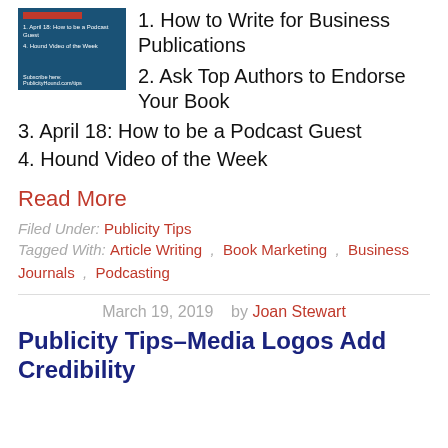[Figure (thumbnail): Dark blue podcast/newsletter thumbnail with red bar, white text lines listing topics]
1. How to Write for Business Publications
2. Ask Top Authors to Endorse Your Book
3. April 18: How to be a Podcast Guest
4. Hound Video of the Week
Read More
Filed Under: Publicity Tips
Tagged With: Article Writing , Book Marketing , Business Journals , Podcasting
March 19, 2019   by Joan Stewart
Publicity Tips–Media Logos Add Credibility